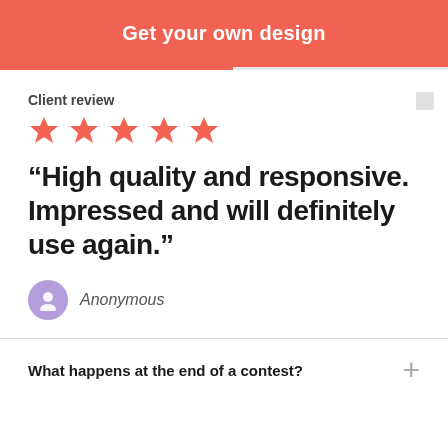Get your own design
Client review
[Figure (other): Five red star rating icons]
“High quality and responsive. Impressed and will definitely use again.”
Anonymous
What happens at the end of a contest?